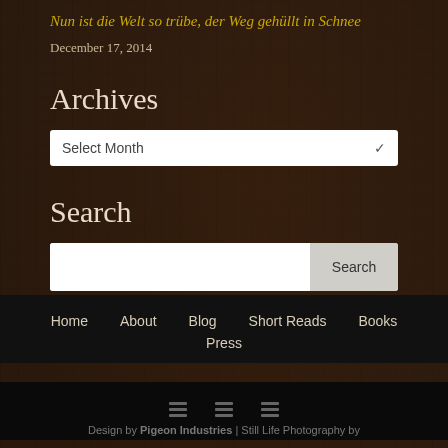Nun ist die Welt so trübe, der Weg gehüllt in Schnee
December 17, 2014
Archives
[Figure (screenshot): Dropdown selector showing 'Select Month' with chevron arrow]
Search
[Figure (screenshot): Search input box with Search button]
Home   About   Blog   Short Reads   Books   Press
[Figure (other): Three social media icon bars]
Design by Pigeon Industries | Still Life Photography by